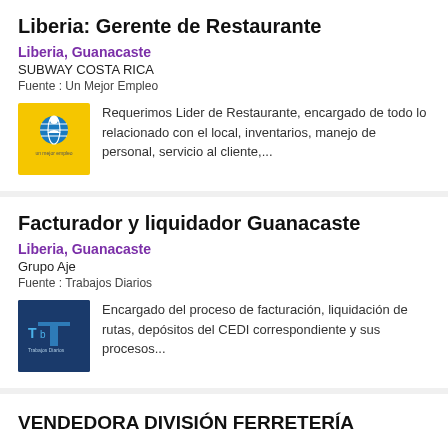Liberia: Gerente de Restaurante
Liberia, Guanacaste
SUBWAY COSTA RICA
Fuente : Un Mejor Empleo
Requerimos Lider de Restaurante, encargado de todo lo relacionado con el local, inventarios, manejo de personal, servicio al cliente,...
Facturador y liquidador Guanacaste
Liberia, Guanacaste
Grupo Aje
Fuente : Trabajos Diarios
Encargado del proceso de facturación, liquidación de rutas, depósitos del CEDI correspondiente y sus procesos...
VENDEDORA DIVISIÓN FERRETERÍA